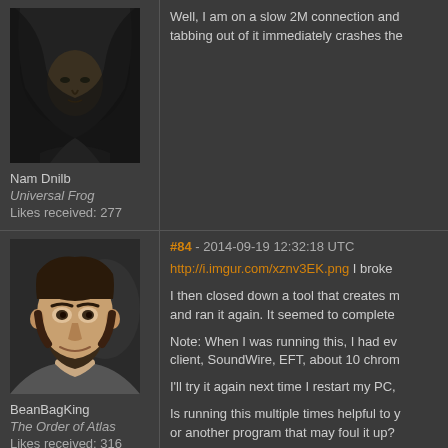[Figure (photo): Dark hooded figure avatar image for user Nam Dnilb]
Nam Dnilb
Universal Frog
Likes received: 277
Well, I am on a slow 2M connection and tabbing out of it immediately crashes the
[Figure (photo): 3D rendered male character avatar image for user BeanBagKing]
BeanBagKing
The Order of Atlas
Likes received: 316
#84 - 2014-09-19 12:32:18 UTC
http://i.imgur.com/xznv3EK.png I broke
I then closed down a tool that creates m and ran it again. It seemed to complete
Note: When I was running this, I had ev client, SoundWire, EFT, about 10 chrom
I'll try it again next time I restart my PC,
Is running this multiple times helpful to y or another program that may foul it up?